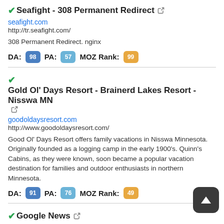✔Seafight - 308 Permanent Redirect 🔗
seafight.com
http://tr.seafight.com/
308 Permanent Redirect. nginx
DA: 98  PA: 57  MOZ Rank: 99
✔Gold Ol' Days Resort - Brainerd Lakes Resort - Nisswa MN 🔗
goodoldaysresort.com
http://www.goodoldaysresort.com/
Good Ol' Days Resort offers family vacations in Nisswa Minnesota. Originally founded as a logging camp in the early 1900's. Quinn's Cabins, as they were known, soon became a popular vacation destination for families and outdoor enthusiasts in northern Minnesota.
DA: 91  PA: 76  MOZ Rank: 49
✔Google News 🔗